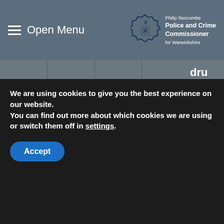Open Menu | Philip Seccombe Police and Crime Commissioner for Warwickshire
dru sub mis awa will wor the rec diff
We are using cookies to give you the best experience on our website.
You can find out more about which cookies we are using or switch them off in settings.
Accept